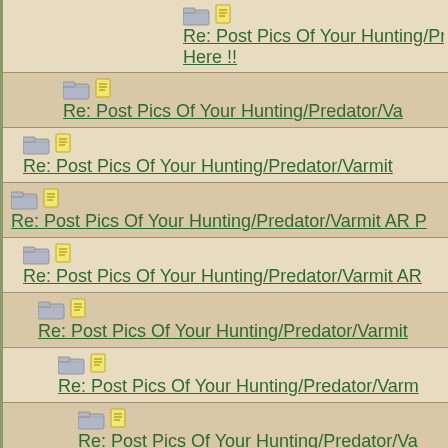Re: Post Pics Of Your Hunting/Predator/Varmit AR Pics Here !!
Re: Post Pics Of Your Hunting/Predator/Va...
Re: Post Pics Of Your Hunting/Predator/Varmit...
Re: Post Pics Of Your Hunting/Predator/Varmit AR P...
Re: Post Pics Of Your Hunting/Predator/Varmit AR...
Re: Post Pics Of Your Hunting/Predator/Varmit...
Re: Post Pics Of Your Hunting/Predator/Varm...
Re: Post Pics Of Your Hunting/Predator/Va...
Re: Post Pics Of Your Hunting/Predator/...
Re: Post Pics Of Your Hunting/Predato... !!
Re: Post Pics Of Your Hunting/Preda... Here !!
Re: Post Pics Of Your Hunting/Predator/Varmit AR P...
Re: Post Pics Of Your Hunting/Predator/Varmit AP...
Re: Post Pics Of Your Hunting/Predator/Varmit...
Re: Post Pics Of Your Hunting/Predator/Varm...
Re: Post Pics Of Your Hunting/Predator/Va...